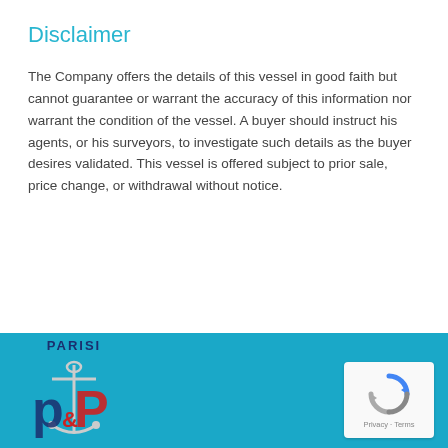Disclaimer
The Company offers the details of this vessel in good faith but cannot guarantee or warrant the accuracy of this information nor warrant the condition of the vessel. A buyer should instruct his agents, or his surveyors, to investigate such details as the buyer desires validated. This vessel is offered subject to prior sale, price change, or withdrawal without notice.
[Figure (logo): Parisi & P maritime company logo with anchor, on teal/cyan footer bar]
[Figure (logo): reCAPTCHA badge with circular arrow icon and Privacy · Terms text]